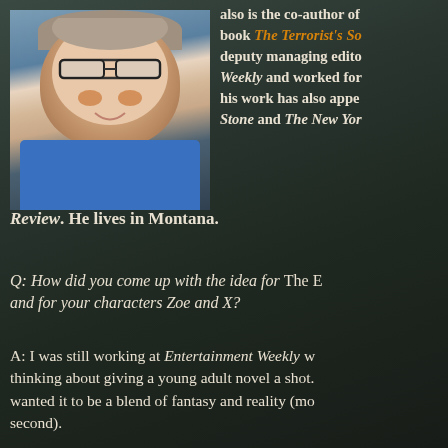[Figure (photo): Headshot of a man with glasses wearing a blue shirt, against a dark moody background room.]
also is the co-author of book The Terrorist's So deputy managing edito Weekly and worked for his work has also appe Stone and The New Yor
Review. He lives in Montana.
Q: How did you come up with the idea for The E and for your characters Zoe and X?
A: I was still working at Entertainment Weekly w thinking about giving a young adult novel a shot. wanted it to be a blend of fantasy and reality (mo second).